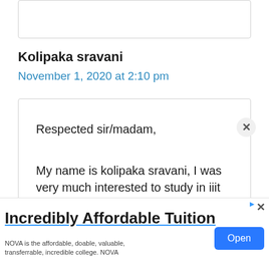Kolipaka sravani
November 1, 2020 at 2:10 pm
Respected sir/madam,

My name is kolipaka sravani, I was very much interested to study in iiit
Incredibly Affordable Tuition
NOVA is the affordable, doable, valuable, transferrable, incredible college. NOVA